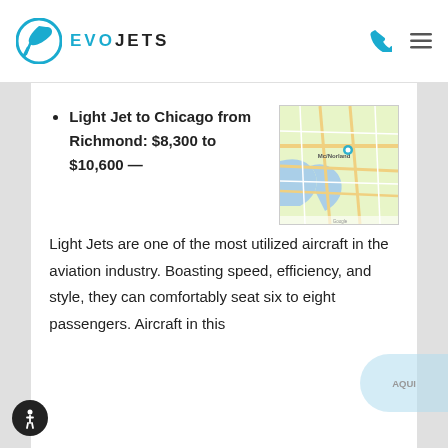EVO JETS
Light Jet to Chicago from Richmond: $8,300 to $10,600 —
[Figure (map): Google map showing Chicago area road and city map]
Light Jets are one of the most utilized aircraft in the aviation industry. Boasting speed, efficiency, and style, they can comfortably seat six to eight passengers. Aircraft in this